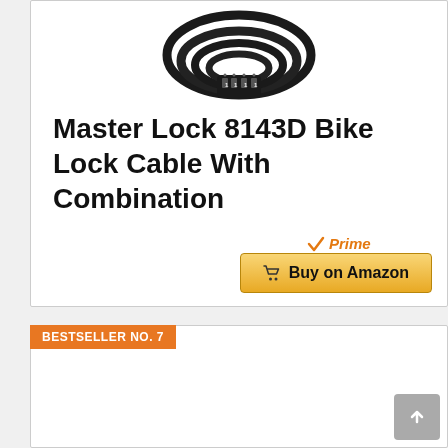[Figure (photo): Black combination bike lock cable coiled in a loop with 4-digit combination dial showing 1111]
Master Lock 8143D Bike Lock Cable With Combination
[Figure (logo): Amazon Prime badge with orange checkmark and 'Prime' text in orange italic]
Buy on Amazon
BESTSELLER NO. 7
[Figure (photo): Dark brown roll-top backpack/tote bag with handle]